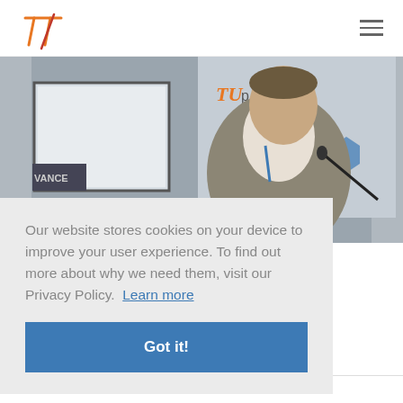[Figure (logo): TU logo - orange stylized pi/T symbol with red diagonal stroke]
[Figure (photo): Man in grey blazer speaking at a conference podium with microphone; banner with TU logo visible in background]
Our website stores cookies on your device to improve your user experience. To find out more about why we need them, visit our Privacy Policy.  Learn more
Got it!